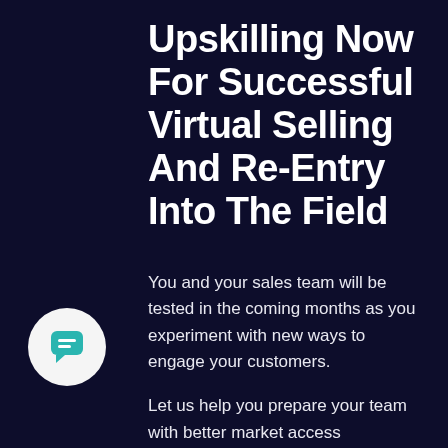Upskilling Now For Successful Virtual Selling And Re-Entry Into The Field
You and your sales team will be tested in the coming months as you experiment with new ways to engage your customers.
Let us help you prepare your team with better market access knowledge that they can use now during virtual calls and later on when they re-enter the field.
[Figure (logo): Teal speech bubble / chat icon inside a light circular background]